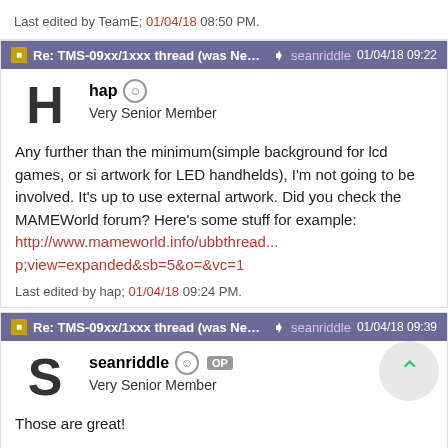Last edited by TeamE; 01/04/18 08:50 PM.
Re: TMS-09xx/1xxx thread (was New ... seanriddle 01/04/18 09:22
hap Very Senior Member
Any further than the minimum(simple background for lcd games, or si... artwork for LED handhelds), I'm not going to be involved. It's up to use... external artwork. Did you check the MAMEWorld forum? Here's some... stuff for example: http://www.mameworld.info/ubbthread...p;view=expanded&sb=5&o=&vc=1
Last edited by hap; 01/04/18 09:24 PM.
Re: TMS-09xx/1xxx thread (was New ... seanriddle 01/04/18 09:39
seanriddle OP Very Senior Member
Those are great!